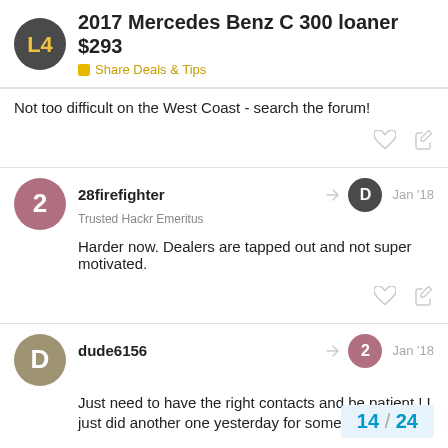2017 Mercedes Benz C 300 loaner $293
Share Deals & Tips
Not too difficult on the West Coast - search the forum!
28firefighter
Trusted Hackr Emeritus
Jan '18
Harder now. Dealers are tapped out and not super motivated.
dude6156
Jan '18
Just need to have the right contacts and be patient ! I just did another one yesterday for someone 🙂
14 / 24